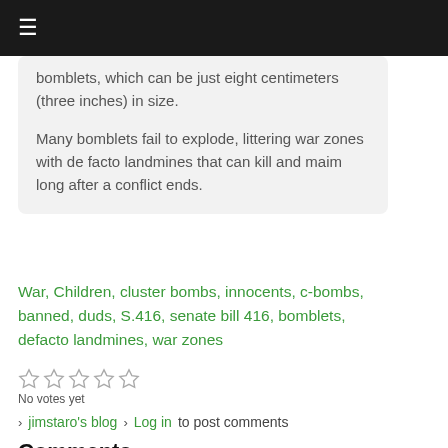≡
bomblets, which can be just eight centimeters (three inches) in size.

Many bomblets fail to explode, littering war zones with de facto landmines that can kill and maim long after a conflict ends.
War, Children, cluster bombs, innocents, c-bombs, banned, duds, S.416, senate bill 416, bomblets, defacto landmines, war zones
No votes yet
jimstaro's blog  Log in to post comments
Comments
avahome    Good deal.........